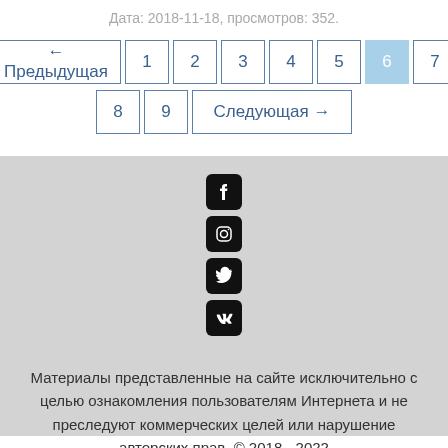Дата: 2018-11-18, просмотров: 352.
[Figure (other): Pagination navigation widget with buttons: ← Предыдущая, 1, 2, 3, 4, 5, 6 (active/highlighted), 7, 8, 9, Следующая →]
[Figure (other): Social media icons: Facebook, Instagram, Twitter, VKontakte]
Материалы представленные на сайте исключительно с целью ознакомления пользователям Интернета и не преследуют коммерческих целей или нарушение авторских прав. © 2018 - 2022